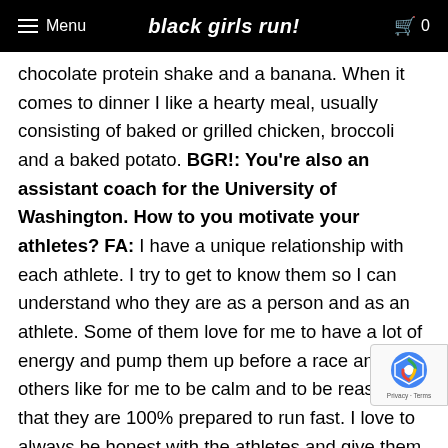Menu | black girls run! | 0
chocolate protein shake and a banana. When it comes to dinner I like a hearty meal, usually consisting of baked or grilled chicken, broccoli and a baked potato. BGR!: You're also an assistant coach for the University of Washington. How to you motivate your athletes? FA: I have a unique relationship with each athlete. I try to get to know them so I can understand who they are as a person and as an athlete. Some of them love for me to have a lot of energy and pump them up before a race and others like for me to be calm and to be reassured that they are 100% prepared to run fast. I love to always be honest with the athletes and give them tons of feedback, it lets them know that I am truly invested and in return motivates them to be the best they can. BGR!: What does "Run Happy" mean to you? FA: To "Run Happy" to me means to enjoy w...